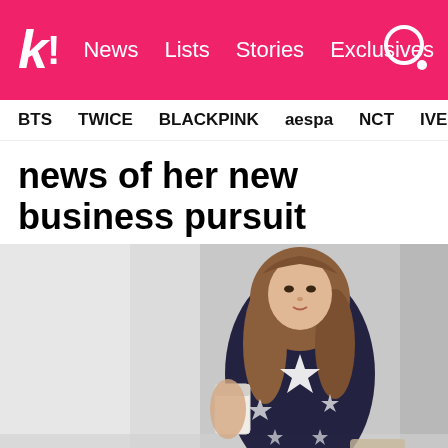k! News Lists Stories Exclusives
BTS TWICE BLACKPINK aespa NCT IVE SHINE
news of her new business pursuit
[Figure (photo): Young woman with long wavy brown hair wearing a dark navy blue top with white star pattern, holding a white cup, posed against a blurred outdoor background]